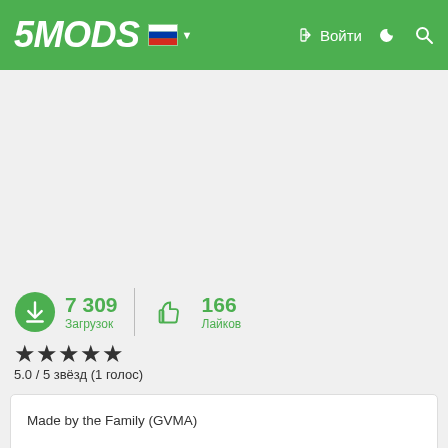5MODS | Войти
7 309 Загрузок | 166 Лайков
5.0 / 5 звёзд (1 голос)
Made by the Family (GVMA)

Plymouth CUDA 197x pack
Models and textures: turn10/polyphony digital/wanted188
Taken from gamemodels.ru